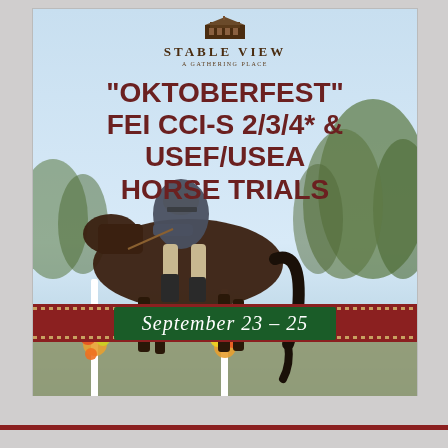[Figure (photo): Event promotional image for Stable View 'Oktoberfest' FEI CCI-S 2/3/4* & USEF/USEA Horse Trials. Shows a rider on a dark brown horse jumping over a fence during an equestrian cross-country event. Flowers decorate the jump standards. Sky and trees visible in background. Red horizontal banner across the middle with a dark green inset box reading 'September 23 – 25'. Stable View logo with building icon at top.]
"OKTOBERFEST" FEI CCI-S 2/3/4* & USEF/USEA HORSE TRIALS
September 23 – 25